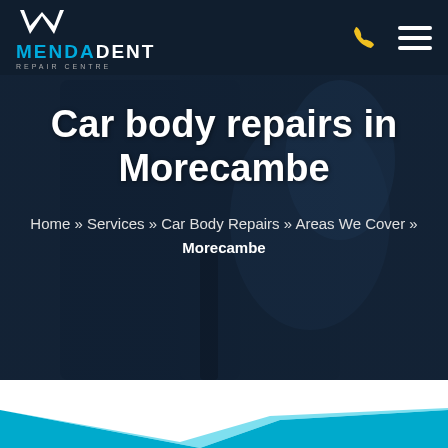[Figure (logo): Mendadent Repair Centre logo with M chevron mark in white, brand name in cyan and white, tagline in grey]
[Figure (photo): Dark blue tinted background hero image showing mechanic/technician working on a car with a blue cloth]
Car body repairs in Morecambe
Home » Services » Car Body Repairs » Areas We Cover » Morecambe